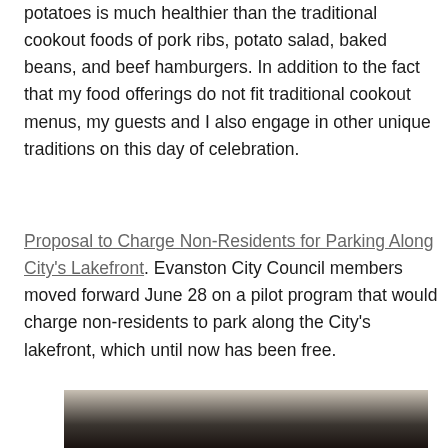potatoes is much healthier than the traditional cookout foods of pork ribs, potato salad, baked beans, and beef hamburgers. In addition to the fact that my food offerings do not fit traditional cookout menus, my guests and I also engage in other unique traditions on this day of celebration.
Proposal to Charge Non-Residents for Parking Along City's Lakefront. Evanston City Council members moved forward June 28 on a pilot program that would charge non-residents to park along the City's lakefront, which until now has been free.
[Figure (photo): Partial view of a photograph, showing a dark scene with warm tones at the top transitioning to black at the bottom.]